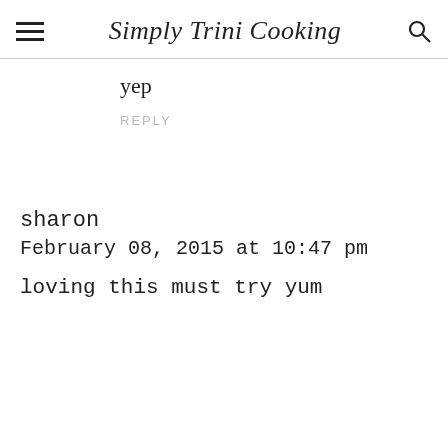Simply Trini Cooking
yep
REPLY
sharon
February 08, 2015 at 10:47 pm
loving this must try yum